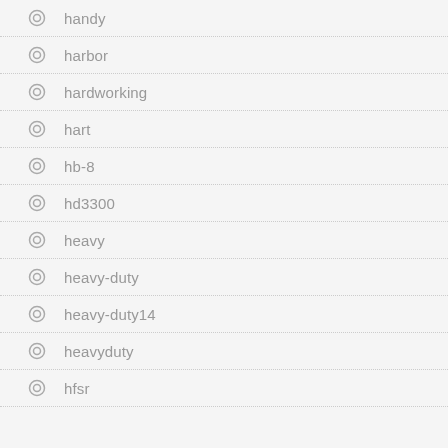handy
harbor
hardworking
hart
hb-8
hd3300
heavy
heavy-duty
heavy-duty14
heavyduty
hfsr